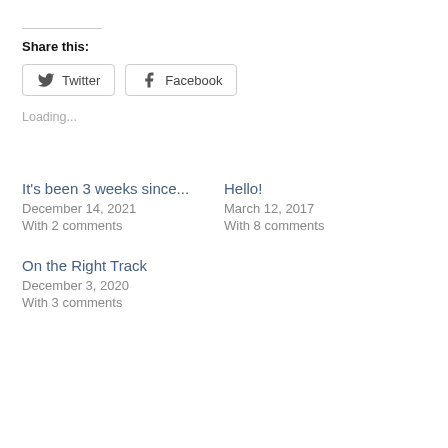Share this:
Twitter  Facebook
Loading...
It's been 3 weeks since...
December 14, 2021
With 2 comments
Hello!
March 12, 2017
With 8 comments
On the Right Track
December 3, 2020
With 3 comments